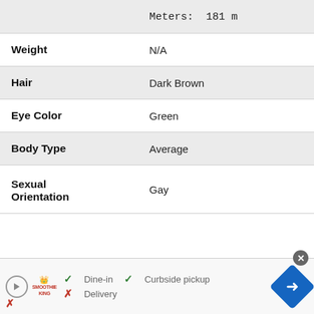| Field | Value |
| --- | --- |
|  | Meters:  181 m |
| Weight | N/A |
| Hair | Dark Brown |
| Eye Color | Green |
| Body Type | Average |
| Sexual Orientation | Gay |
[Figure (other): Advertisement banner for Smoothie King restaurant showing dine-in, curbside pickup availability and no delivery option, with navigation arrow icon]